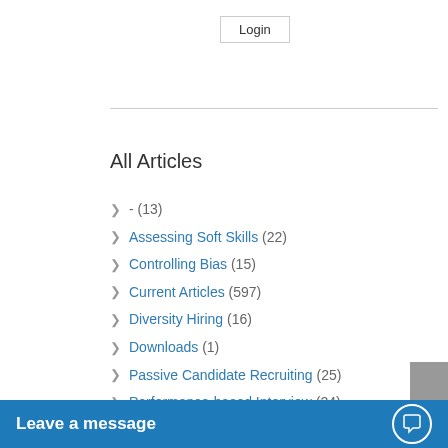Login
All Articles
- (13)
Assessing Soft Skills (22)
Controlling Bias (15)
Current Articles (597)
Diversity Hiring (16)
Downloads (1)
Passive Candidate Recruiting (25)
Performance-based Interview (24)
Podcasts (8)
Quality of Hire (43)
Recruiting & Closing (17)
Rethinking the Job R…
Leave a message